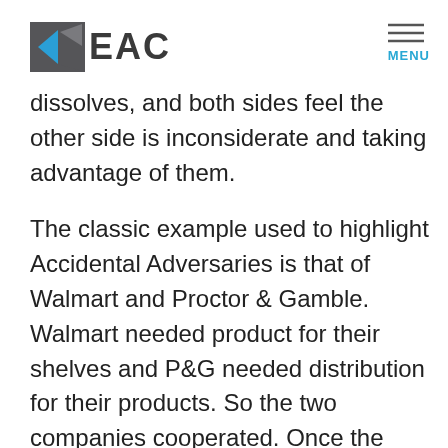EAC | MENU
dissolves, and both sides feel the other side is inconsiderate and taking advantage of them.
The classic example used to highlight Accidental Adversaries is that of Walmart and Proctor & Gamble. Walmart needed product for their shelves and P&G needed distribution for their products. So the two companies cooperated. Once the cooperation was in place P&G tried to improve their position by running a lot of